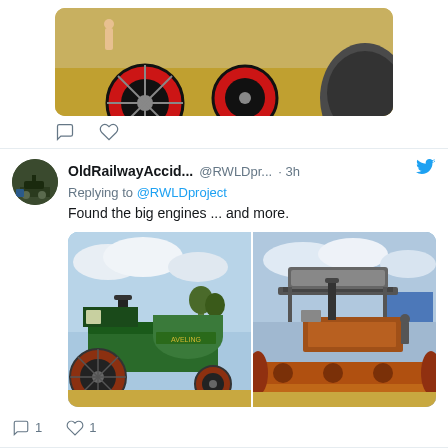[Figure (photo): Partial tweet showing top portion of a photo of vintage steam engines with large red wheels on dry grass ground, with dark roller on right side]
[Figure (photo): Twitter/X interaction icons: comment bubble and heart/like icon]
OldRailwayAccid... @RWLDpr... · 3h
Replying to @RWLDproject
Found the big engines ... and more.
[Figure (photo): Two side-by-side photos: left shows a green vintage traction engine/steam roller at a show; right shows a rusty orange steam road roller with circular holes in its front roller]
1  1